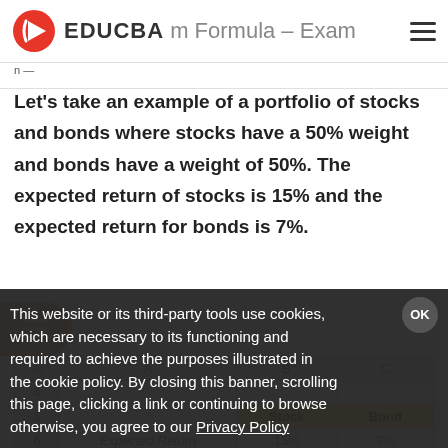EDUCBA | Portfolio Return Formula – Example
Let's take an example of a portfolio of stocks and bonds where stocks have a 50% weight and bonds have a weight of 50%. The expected return of stocks is 15% and the expected return for bonds is 7%.
|  | A | B | C |
| --- | --- | --- | --- |
| 4 |  |  |  |
| 5 |  | Stock | Bond |
| 6 | Expected Return | 15% | 7% |
This website or its third-party tools use cookies, which are necessary to its functioning and required to achieve the purposes illustrated in the cookie policy. By closing this banner, scrolling this page, clicking a link or continuing to browse otherwise, you agree to our Privacy Policy